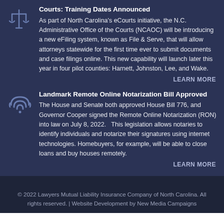Courts: Training Dates Announced
As part of North Carolina's eCourts initiative, the N.C. Administrative Office of the Courts (NCAOC) will be introducing a new eFiling system, known as File & Serve, that will allow attorneys statewide for the first time ever to submit documents and case filings online. This new capability will launch later this year in four pilot counties: Harnett, Johnston, Lee, and Wake.
LEARN MORE
Landmark Remote Online Notarization Bill Approved
The House and Senate both approved House Bill 776, and Governor Cooper signed the Remote Online Notarization (RON) into law on July 8, 2022.   This legislation allows notaries to identify individuals and notarize their signatures using internet technologies. Homebuyers, for example, will be able to close loans and buy houses remotely.
LEARN MORE
© 2022 Lawyers Mutual Liability Insurance Company of North Carolina. All rights reserved. | Website Development by New Media Campaigns